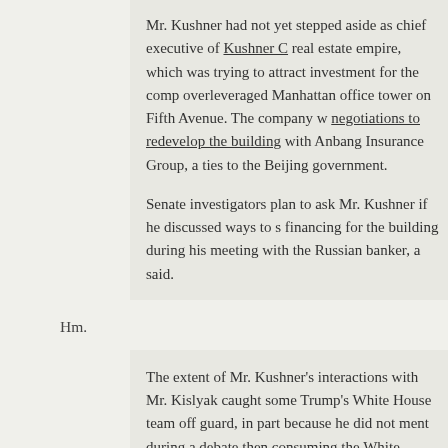Mr. Kushner had not yet stepped aside as chief executive of Kushner real estate empire, which was trying to attract investment for the company's overleveraged Manhattan office tower on Fifth Avenue. The company was in negotiations to redevelop the building with Anbang Insurance Group, a firm with ties to the Beijing government.
Senate investigators plan to ask Mr. Kushner if he discussed ways to secure financing for the building during his meeting with the Russian banker, a person said.
Hm.
The extent of Mr. Kushner's interactions with Mr. Kislyak caught some of Trump's White House team off guard, in part because he did not mention them during a debate then consuming the White House: how to handle the disclosure of Flynn's interactions with the Russian ambassador.
Oh, he didn't mention them then either. Intersting.
Ms. Hicks said that Mr. Trump had authorized Mr. Kushner to have m